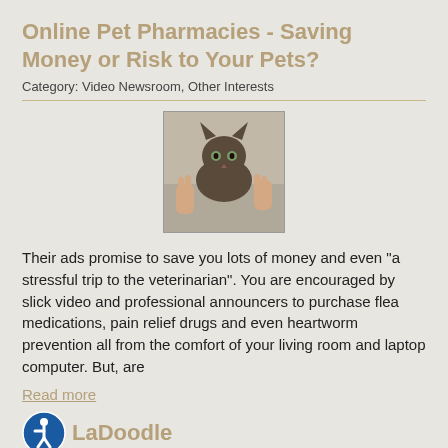Online Pet Pharmacies - Saving Money or Risk to Your Pets?
Category: Video Newsroom, Other Interests
[Figure (photo): A dark-colored cat being held by human hands, appearing to be examined or treated.]
Their ads promise to save you lots of money and even "a stressful trip to the veterinarian". You are encouraged by slick video and professional announcers to purchase flea medications, pain relief drugs and even heartworm prevention all from the comfort of your living room and laptop computer. But, are
Read more
LaDoodle
Category: Video Newsroom, Other Interests